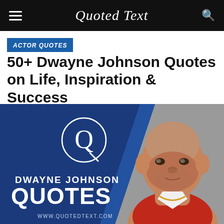Quoted Text
ACTOR QUOTES
50+ Dwayne Johnson Quotes on Life, Inspiration & Success
[Figure (photo): Promotional graphic for Dwayne Johnson quotes. Left panel is navy/dark blue with a circular logo letter Q and text: DWAYNE JOHNSON QUOTES, www.quotedtext.com. Right side shows a bald muscular man (Dwayne Johnson) in a red shirt looking at camera, gray background.]